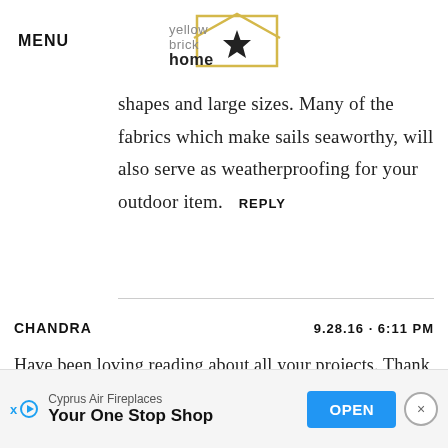MENU | yellow brick home
shapes and large sizes. Many of the fabrics which make sails seaworthy, will also serve as weatherproofing for your outdoor item.  REPLY
CHANDRA   9.28.16 · 6:11 PM
Have been loving reading about all your projects. Thank you so much for sharing such great detail. Question: did you feel compelled to ... way
[Figure (infographic): Advertisement banner: Cyprus Air Fireplaces - Your One Stop Shop, with OPEN button]